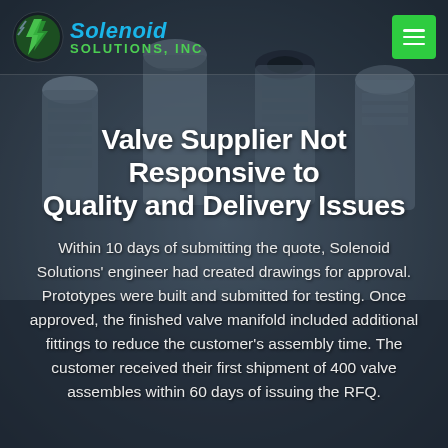[Figure (photo): Dark metallic background showing close-up of steel bolt/valve fittings with threaded tops, blurred/bokeh effect]
Solenoid Solutions, Inc — logo and navigation menu
Valve Supplier Not Responsive to Quality and Delivery Issues
Within 10 days of submitting the quote, Solenoid Solutions' engineer had created drawings for approval. Prototypes were built and submitted for testing. Once approved, the finished valve manifold included additional fittings to reduce the customer's assembly time. The customer received their first shipment of 400 valve assembles within 60 days of issuing the RFQ.